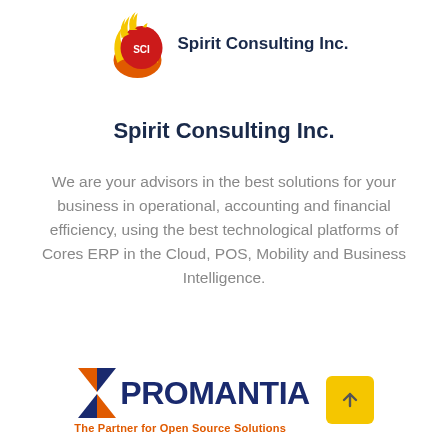[Figure (logo): Spirit Consulting Inc. logo: flame icon with SCI badge and company name text]
Spirit Consulting Inc.
We are your advisors in the best solutions for your business in operational, accounting and financial efficiency, using the best technological platforms of Cores ERP in the Cloud, POS, Mobility and Business Intelligence.
[Figure (logo): Promantia logo with X chevron mark, bold blue PROMANTIA text, and orange tagline 'The Partner for Open Source Solutions', alongside a yellow button with an upward arrow]